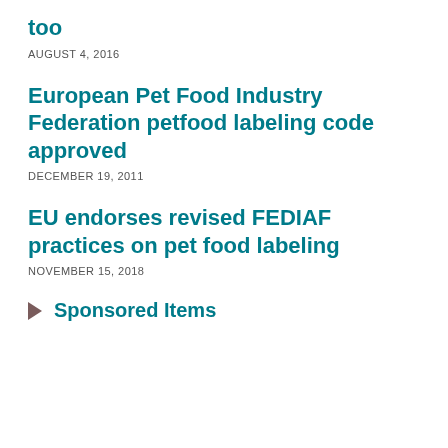too
AUGUST 4, 2016
European Pet Food Industry Federation petfood labeling code approved
DECEMBER 19, 2011
EU endorses revised FEDIAF practices on pet food labeling
NOVEMBER 15, 2018
Sponsored Items